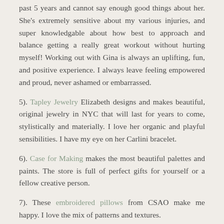past 5 years and cannot say enough good things about her. She's extremely sensitive about my various injuries, and super knowledgable about how best to approach and balance getting a really great workout without hurting myself! Working out with Gina is always an uplifting, fun, and positive experience. I always leave feeling empowered and proud, never ashamed or embarrassed.
5). Tapley Jewelry Elizabeth designs and makes beautiful, original jewelry in NYC that will last for years to come, stylistically and materially. I love her organic and playful sensibilities. I have my eye on her Carlini bracelet.
6). Case for Making makes the most beautiful palettes and paints. The store is full of perfect gifts for yourself or a fellow creative person.
7). These embroidered pillows from CSAO make me happy. I love the mix of patterns and textures.
Share your favorites with us! Leave a comment or send us an